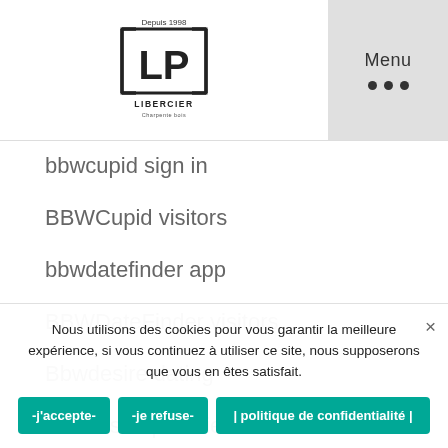[Figure (logo): LP Libercier logo with text 'Depuis 1998' above and 'LIBERCIER' below, inside a square bracket frame]
Menu
bbwcupid sign in
BBWCupid visitors
bbwdatefinder app
BBWDateFinder visitors
Bbwdesire dating
bbwdesire pl review
BBWDesire review
bbwdesire reviews
Nous utilisons des cookies pour vous garantir la meilleure expérience, si vous continuez à utiliser ce site, nous supposerons que vous en êtes satisfait.
-j'accepte-
-je refuse-
| politique de confidentialité |